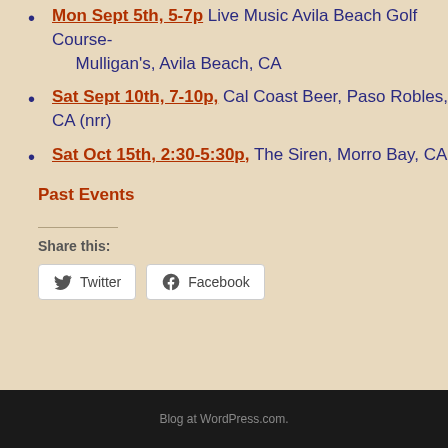Mon Sept 5th, 5-7p Live Music Avila Beach Golf Course-Mulligan's, Avila Beach, CA
Sat Sept 10th, 7-10p, Cal Coast Beer, Paso Robles, CA (nrr)
Sat Oct 15th, 2:30-5:30p, The Siren, Morro Bay, CA
Past Events
Share this:
Twitter  Facebook
Blog at WordPress.com.